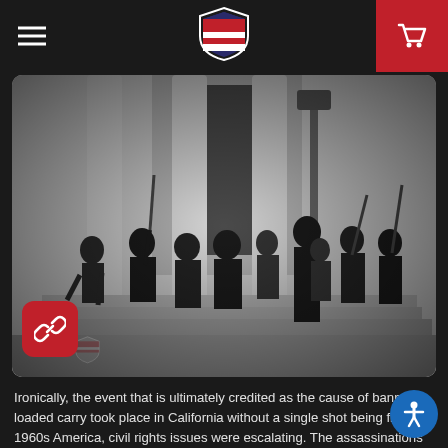Navigation header with hamburger menu, shield logo, and cart icon
[Figure (photo): Black and white historical photograph of Black Panther Party members standing on the steps of a government building with large columns, holding rifles. Multiple individuals are shown, some wearing berets and jackets. A watermark shield logo is visible in the lower left corner.]
Ironically, the event that is ultimately credited as the cause of banned loaded carry took place in California without a single shot being fired. In 1960s America, civil rights issues were escalating. The assassinations of both Dr. Martin Luther King, Jr. and Malcolm X in 1965 left black communities fearful, and torn between peaceful resistance and self-defense "by whatever means necessary." Abusive, racially motivated policing practices in Oakland, California, gave rise to the Black Panther Police Patrols and their mission to